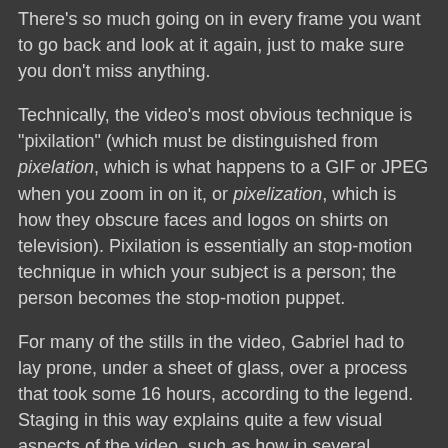There's so much going on in every frame you want to go back and look at it again, just to make sure you don't miss anything.
Technically, the video's most obvious technique is "pixilation" (which must be distinguished from pixelation, which is what happens to a GIF or JPEG when you zoom in on it, or pixelization, which is how they obscure faces and logos on shirts on television). Pixilation is essentially an stop-motion technique in which your subject is a person; the person becomes the stop-motion puppet.
For many of the stills in the video, Gabriel had to lay prone, under a sheet of glass, over a process that took some 16 hours, according to the legend. Staging in this way explains quite a few visual aspects of the video, such as how in several animated scenes, Gabriel's face doesn't exactly look like it's quite being pulled by gravity in the traditional way, and how so many of the other stop-motion effects seem to magically maintain themselves in from of his face (the produce and the woodwork, most notably).